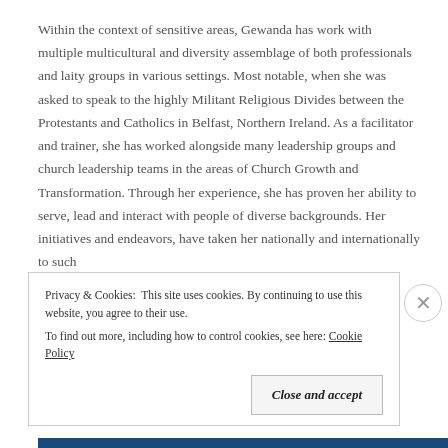Within the context of sensitive areas, Gewanda has work with multiple multicultural and diversity assemblage of both professionals and laity groups in various settings. Most notable, when she was asked to speak to the highly Militant Religious Divides between the Protestants and Catholics in Belfast, Northern Ireland. As a facilitator and trainer, she has worked alongside many leadership groups and church leadership teams in the areas of Church Growth and Transformation. Through her experience, she has proven her ability to serve, lead and interact with people of diverse backgrounds. Her initiatives and endeavors, have taken her nationally and internationally to such
Privacy & Cookies: This site uses cookies. By continuing to use this website, you agree to their use. To find out more, including how to control cookies, see here: Cookie Policy
Close and accept